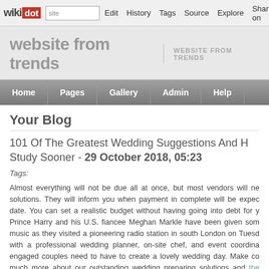wikidot | site | Edit | History | Tags | Source | Explore | Share on
website from trends | WEBSITE FROM TRENDS
Home | Pages | Gallery | Admin | Help
Your Blog
101 Of The Greatest Wedding Suggestions And H Study Sooner - 29 October 2018, 05:23
Tags:
Almost everything will not be due all at once, but most vendors will ne solutions. They will inform you when payment in complete will be expec date. You can set a realistic budget without having going into debt for y Prince Harry and his U.S. fiancee Meghan Markle have been given som music as they visited a pioneering radio station in south London on Tues with a professional wedding planner, on-site chef, and event coordina engaged couples need to have to create a lovely wedding day. Make co much more about our outstanding wedding preparing solutions and the week top up to your wedding day does not imply you can't get sick or h different types. If you want proof, read my expertise here Make positive